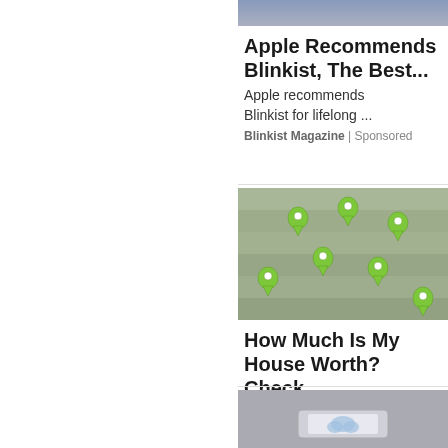[Figure (photo): Partial photo of a person at top of page]
Apple Recommends Blinkist, The Best...
Apple recommends Blinkist for lifelong ...
Blinkist Magazine | Sponsored
[Figure (photo): Aerial photo of a market or outdoor venue with green map pin location markers overlaid]
How Much Is My House Worth? Check...
Real Estate | Search Ads | Sponsored
[Figure (photo): Partial photo showing hands with a tablet/device at bottom of page]